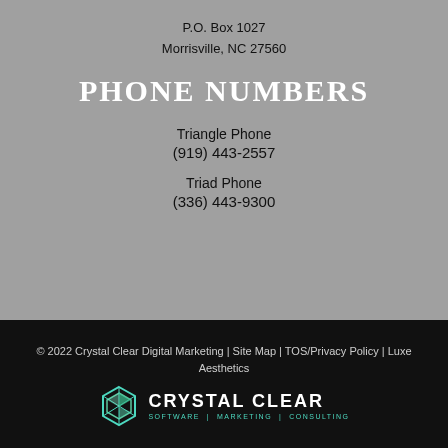P.O. Box 1027
Morrisville, NC 27560
PHONE NUMBERS
Triangle Phone
(919) 443-2557
Triad Phone
(336) 443-9300
© 2022 Crystal Clear Digital Marketing | Site Map | TOS/Privacy Policy | Luxe Aesthetics
[Figure (logo): Crystal Clear Software | Marketing | Consulting logo with hexagon icon]